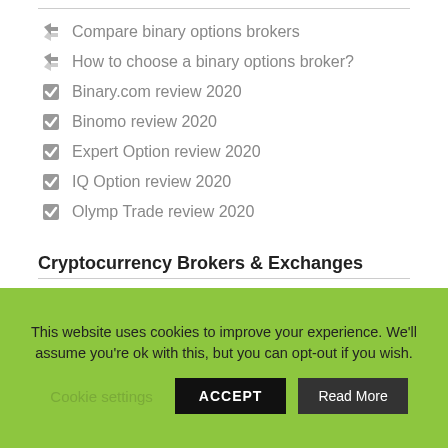Compare binary options brokers
How to choose a binary options broker?
Binary.com review 2020
Binomo review 2020
Expert Option review 2020
IQ Option review 2020
Olymp Trade review 2020
Cryptocurrency Brokers & Exchanges
Getting started with Crypto
Cryptocurrency Cloud Mining
Swap crypto using our Bitmixer
Binance review 2020
Bitfinex review 2020
BitMEX review 2020
This website uses cookies to improve your experience. We'll assume you're ok with this, but you can opt-out if you wish.